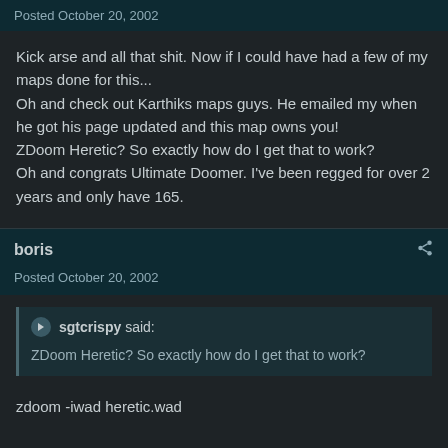Posted October 20, 2002
Kick arse and all that shit. Now if I could have had a few of my maps done for this...
Oh and check out Karthiks maps guys. He emailed my when he got his page updated and this map owns you!
ZDoom Heretic? So exactly how do I get that to work?
Oh and congrats Ultimate Doomer. I've been regged for over 2 years and only have 165.
boris
Posted October 20, 2002
sgtcrispy said: ZDoom Heretic? So exactly how do I get that to work?
zdoom -iwad heretic.wad